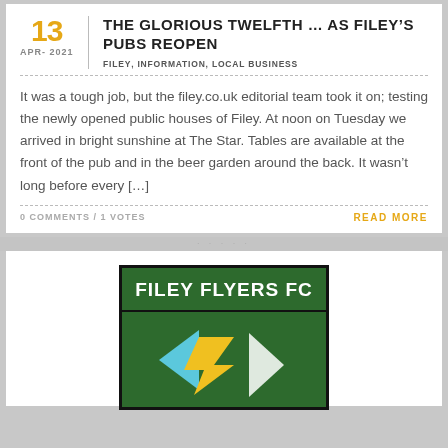THE GLORIOUS TWELFTH … AS FILEY'S PUBS REOPEN
FILEY, INFORMATION, LOCAL BUSINESS
It was a tough job, but the filey.co.uk editorial team took it on; testing the newly opened public houses of Filey. At noon on Tuesday we arrived in bright sunshine at The Star. Tables are available at the front of the pub and in the beer garden around the back. It wasn't long before every [...]
0 COMMENTS / 1 VOTES
READ MORE
[Figure (logo): Filey Flyers FC logo — dark green background with white bold text 'FILEY FLYERS FC' on top banner, and a soccer/football emblem below with light blue, yellow and white geometric shapes on green background.]